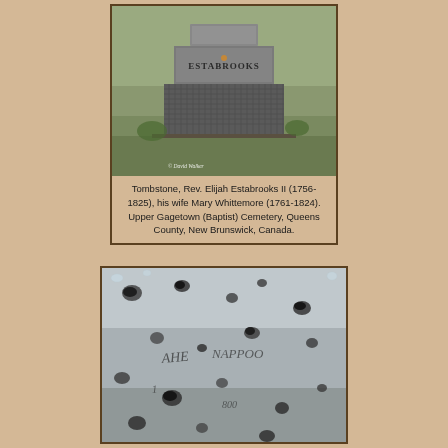[Figure (photo): Photograph of a large granite tombstone monument with 'ESTABROOKS' engraved on the middle tier, topped with a smaller block, base has diamond-pattern carved stone work, surrounded by grass. Copyright © David Walker watermark visible.]
Tombstone, Rev. Elijah Estabrooks II (1756-1825), his wife Mary Whittemore (1761-1824). Upper Gagetown (Baptist) Cemetery, Queens County, New Brunswick, Canada.
[Figure (photo): Close-up photograph of a weathered stone surface with pockmarks and indentations, partially legible engraved text including what appears to be dates or names, heavily worn with lichen damage.]